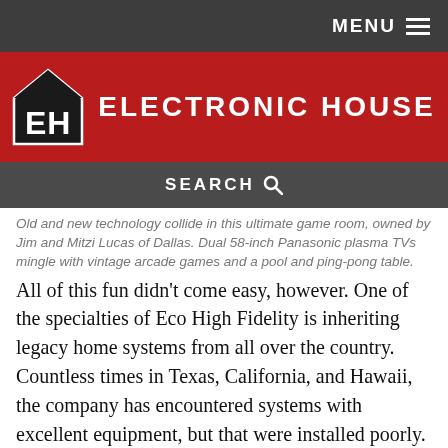MENU
[Figure (logo): Electronic House logo: EH letters in black box with house silhouette outline, white text on dark, next to 'ELECTRONIC HOUSE' in white bold text on red background]
SEARCH
Old and new technology collide in this ultimate game room, owned by Jim and Mitzi Lucas of Dallas. Dual 58-inch Panasonic plasma TVs mingle with vintage arcade games and a pool and ping-pong table.
All of this fun didn't come easy, however. One of the specialties of Eco High Fidelity is inheriting legacy home systems from all over the country. Countless times in Texas, California, and Hawaii, the company has encountered systems with excellent equipment, but that were installed poorly. This particular historical home is also nearly a century old, with thick plaster walls and multiple floors. In short, it was a